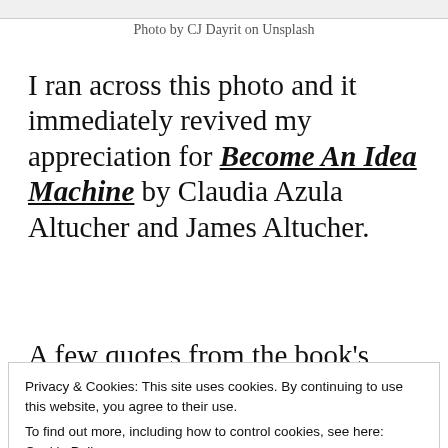[Figure (photo): Partial top of a photo, cropped at top of page]
Photo by CJ Dayrit on Unsplash
I ran across this photo and it immediately revived my appreciation for Become An Idea Machine by Claudia Azula Altucher and James Altucher.
A few quotes from the book's
Privacy & Cookies: This site uses cookies. By continuing to use this website, you agree to their use.
To find out more, including how to control cookies, see here: Cookie Policy
exercise in this book is worth ten